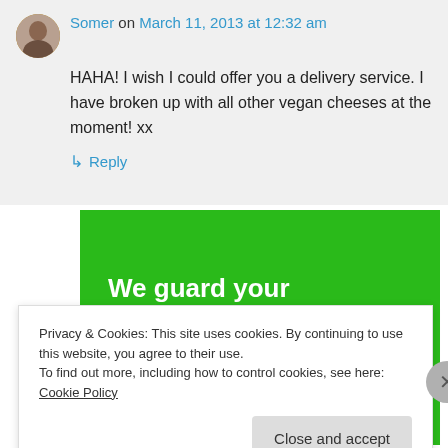Somer on March 11, 2013 at 12:32 am
HAHA! I wish I could offer you a delivery service. I have broken up with all other vegan cheeses at the moment! xx
↳ Reply
[Figure (other): Green advertisement banner with white bold text reading: We guard your WordPress site. You run your business.]
Privacy & Cookies: This site uses cookies. By continuing to use this website, you agree to their use. To find out more, including how to control cookies, see here: Cookie Policy
Close and accept